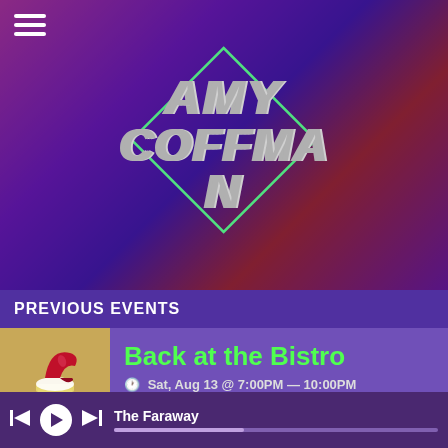[Figure (photo): Hero image of musician playing guitar on stage with colorful purple and red lighting, with 'Amy Coffman' artist logo overlaid in white striped retro font inside a green diamond shape]
PREVIOUS EVENTS
[Figure (illustration): Event thumbnail showing a cocktail glass with a red high-heel shoe and popcorn on a tan background]
Back at the Bistro
Sat, Aug 13 @ 7:00PM — 10:00PM
The Faraway